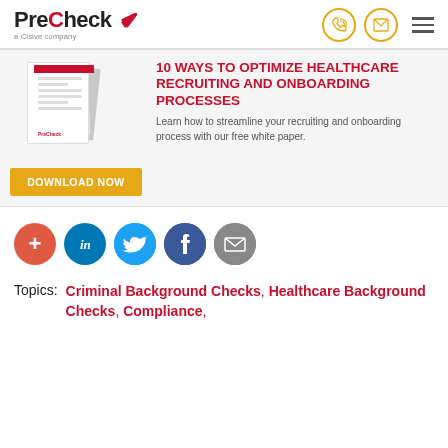[Figure (logo): PreCheck logo with red checkmark and 'a Cisive company' tagline]
[Figure (infographic): Banner advertisement: white paper mock-up image on left, title '10 WAYS TO OPTIMIZE HEALTHCARE RECRUITING AND ONBOARDING PROCESSES' in red, description text, and orange 'DOWNLOAD NOW' button]
[Figure (infographic): Social share buttons: plus (red), LinkedIn (blue), Twitter (light blue), Facebook (dark blue), email (gray)]
Topics: Criminal Background Checks, Healthcare Background Checks, Compliance,